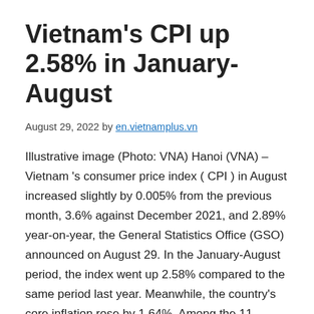Vietnam's CPI up 2.58% in January-August
August 29, 2022 by en.vietnamplus.vn
Illustrative image (Photo: VNA) Hanoi (VNA) – Vietnam 's consumer price index ( CPI ) in August increased slightly by 0.005% from the previous month, 3.6% against December 2021, and 2.89% year-on-year, the General Statistics Office (GSO) announced on August 29. In the January-August period, the index went up 2.58% compared to the same period last year. Meanwhile, the country's core inflation rose by 1.64%. Among the 11 groups of main consumer goods and services, nine reported price hikes. Meanwhile, decreases were